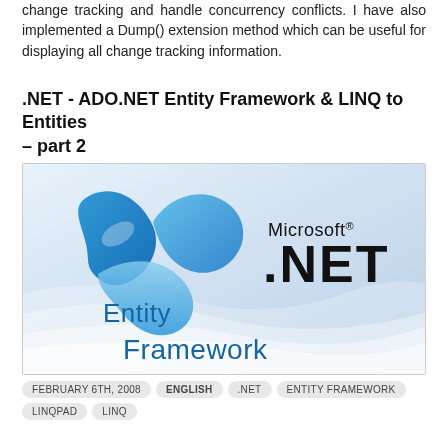change tracking and handle concurrency conflicts. I have also implemented a Dump() extension method which can be useful for displaying all change tracking information.
.NET - ADO.NET Entity Framework & LINQ to Entities - part 2
[Figure (logo): Microsoft .NET Entity Framework logo featuring the blue .NET swirl/infinity mark on the left, 'Microsoft® .NET' text on the right, and 'Entity Framework' text in blue below on a light blue/grey gradient background with wave decorations.]
FEBRUARY 6TH, 2008
ENGLISH
.NET
ENTITY FRAMEWORK
LINQPAD
LINQ